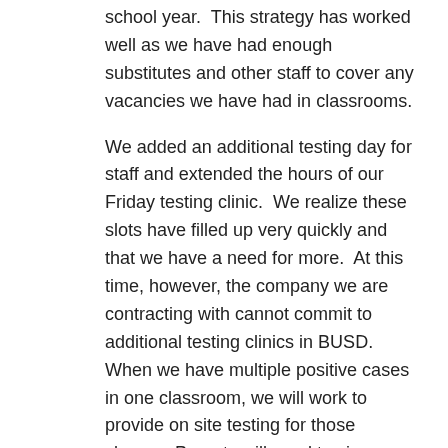school year.  This strategy has worked well as we have had enough substitutes and other staff to cover any vacancies we have had in classrooms.
We added an additional testing day for staff and extended the hours of our Friday testing clinic.  We realize these slots have filled up very quickly and that we have a need for more.  At this time, however, the company we are contracting with cannot commit to additional testing clinics in BUSD. When we have multiple positive cases in one classroom, we will work to provide on site testing for those classes. Parents will need to sign a consent through a link that will be sent through Parent Square if this is needed.  We are also linking alternate testing sites here for your convenience: Solano County – COVID-19 Vaccines.
Before winter break, we sent home the testing kits that were allotted to BUSD for all staff and students. This strategy was extremely effective in limiting positive